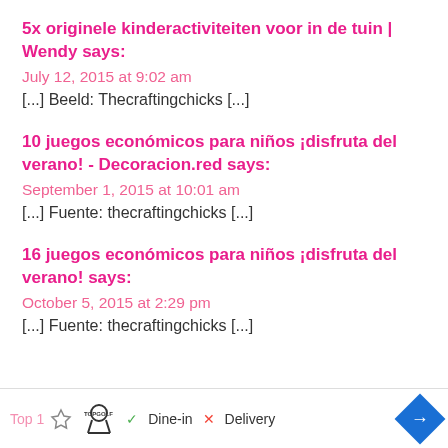5x originele kinderactiviteiten voor in de tuin | Wendy says:
July 12, 2015 at 9:02 am
[...] Beeld: Thecraftingchicks [...]
10 juegos económicos para niños ¡disfruta del verano! - Decoracion.red says:
September 1, 2015 at 10:01 am
[...] Fuente: thecraftingchicks [...]
16 juegos económicos para niños ¡disfruta del verano! says:
October 5, 2015 at 2:29 pm
[...] Fuente: thecraftingchicks [...]
Top | Topgolf | Dine-in | Delivery